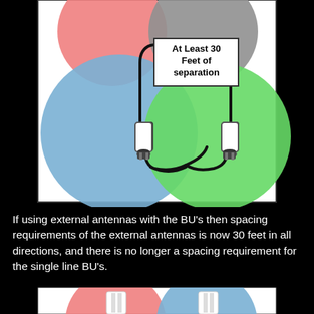[Figure (schematic): Diagram showing two antenna base units (BU's) connected by cables, each surrounded by colored circles (red/pink, blue, green, gray) representing coverage areas. A callout box reads 'At Least 30 Feet of separation' between the two units.]
If using external antennas with the BU's then spacing requirements of the external antennas is now 30 feet in all directions, and there is no longer a spacing requirement for the single line BU's.
[Figure (schematic): Partial diagram showing two base units with pink/red and blue circular coverage zones at the bottom of the page.]